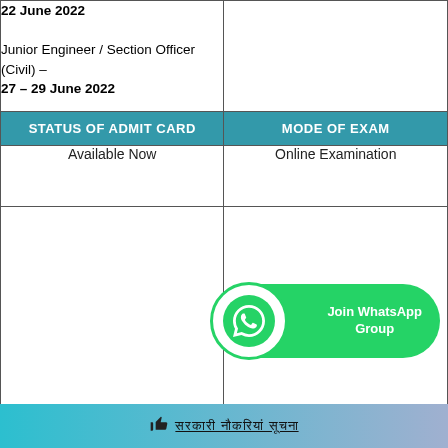| (Exam Dates) |  |
| --- | --- |
| 22 June 2022

Junior Engineer / Section Officer (Civil) –
27 – 29 June 2022 |  |
| STATUS OF ADMIT CARD | MODE OF EXAM |
| Available Now | Online Examination |
[Figure (other): WhatsApp Join Group bubble button with phone icon]
👍 सरकारी नौकरियां सूचना